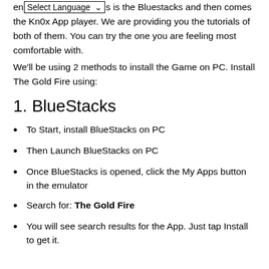en [Select Language] s is the Bluestacks and then comes the Kn0x App player. We are providing you the tutorials of both of them. You can try the one you are feeling most comfortable with.
We'll be using 2 methods to install the Game on PC. Install The Gold Fire using:
1. BlueStacks
To Start, install BlueStacks on PC
Then Launch BlueStacks on PC
Once BlueStacks is opened, click the My Apps button in the emulator
Search for: The Gold Fire
You will see search results for the App. Just tap Install to get it.